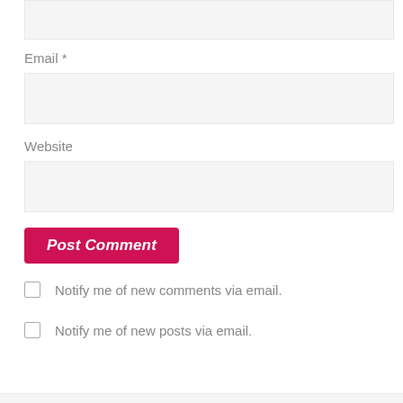[Figure (screenshot): Top input box (partial, cropped at top)]
Email *
[Figure (screenshot): Email input field (empty, light gray background)]
Website
[Figure (screenshot): Website input field (empty, light gray background)]
Post Comment
Notify me of new comments via email.
Notify me of new posts via email.